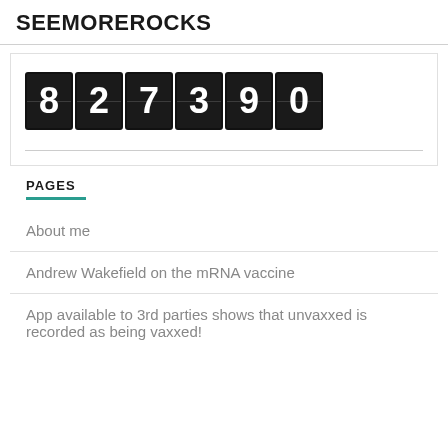SEEMOREROCKS
[Figure (other): Odometer-style counter showing the number 827390]
PAGES
About me
Andrew Wakefield on the mRNA vaccine
App available to 3rd parties shows that unvaxxed is recorded as being vaxxed!